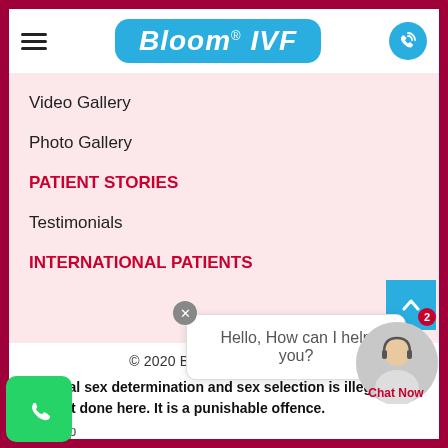[Figure (logo): Bloom IVF logo — blue rounded rectangle with italic white bold text 'Bloom® IVF']
Video Gallery
Photo Gallery
PATIENT STORIES
Testimonials
INTERNATIONAL PATIENTS
© 2020 Bloom Fertility Centre
Prenatal sex determination and sex selection is illegal in and not done here. It is a punishable offence.
Sitemap
Hello, How can I help you?